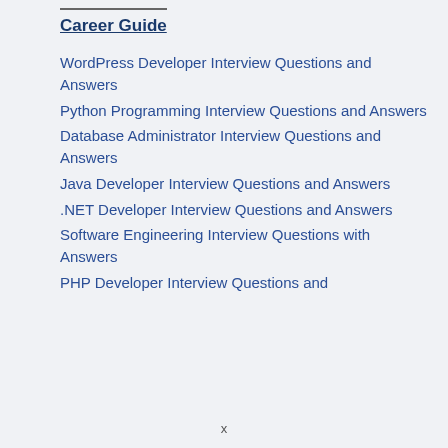Career Guide
WordPress Developer Interview Questions and Answers
Python Programming Interview Questions and Answers
Database Administrator Interview Questions and Answers
Java Developer Interview Questions and Answers
.NET Developer Interview Questions and Answers
Software Engineering Interview Questions with Answers
PHP Developer Interview Questions and
x